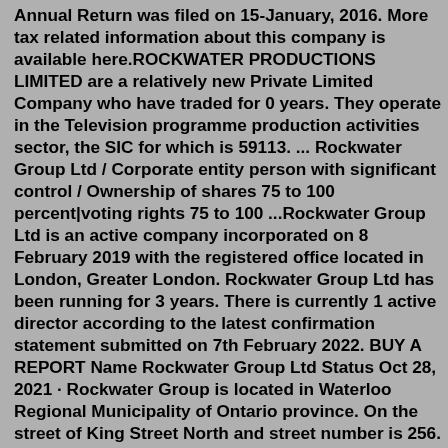Annual Return was filed on 15-January, 2016. More tax related information about this company is available here.ROCKWATER PRODUCTIONS LIMITED are a relatively new Private Limited Company who have traded for 0 years. They operate in the Television programme production activities sector, the SIC for which is 59113. ... Rockwater Group Ltd / Corporate entity person with significant control / Ownership of shares 75 to 100 percent|voting rights 75 to 100 ...Rockwater Group Ltd is an active company incorporated on 8 February 2019 with the registered office located in London, Greater London. Rockwater Group Ltd has been running for 3 years. There is currently 1 active director according to the latest confirmation statement submitted on 7th February 2022. BUY A REPORT Name Rockwater Group Ltd Status Oct 28, 2021 · Rockwater Group is located in Waterloo Regional Municipality of Ontario province. On the street of King Street North and street number is 256. To communicate or ask